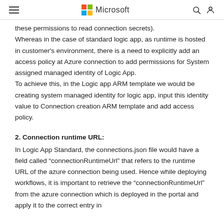Microsoft
these permissions to read connection secrets). Whereas in the case of standard logic app, as runtime is hosted in customer's environment, there is a need to explicitly add an access policy at Azure connection to add permissions for System assigned managed identity of Logic App. To achieve this, in the Logic app ARM template we would be creating system managed identity for logic app, input this identity value to Connection creation ARM template and add access policy.
2. Connection runtime URL:
In Logic App Standard, the connections.json file would have a field called “connectionRuntimeUrl” that refers to the runtime URL of the azure connection being used. Hence while deploying workflows, it is important to retrieve the “connectionRuntimeUrl” from the azure connection which is deployed in the portal and apply it to the correct entry in